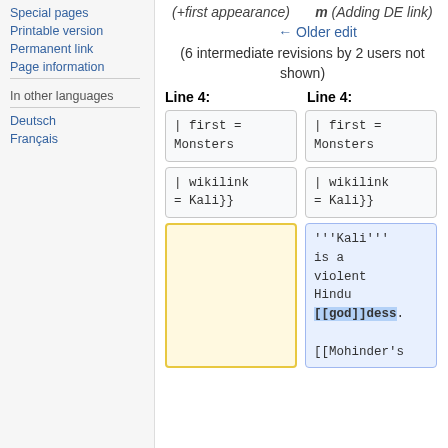Special pages
Printable version
Permanent link
Page information
In other languages
Deutsch
Français
(+first appearance)   m (Adding DE link)
← Older edit
(6 intermediate revisions by 2 users not shown)
Line 4:   Line 4:
| first =
Monsters
| first =
Monsters
| wikilink
= Kali}}
| wikilink
= Kali}}
'''Kali''' is a violent Hindu [[god]]dess.

[[Mohinder's